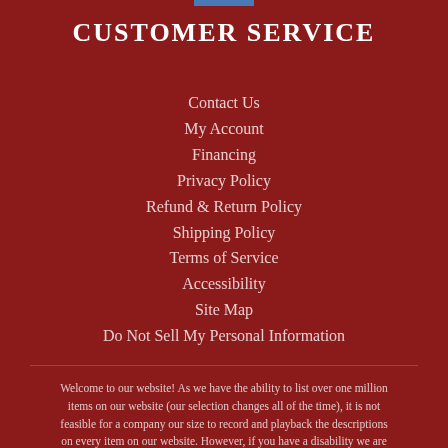CUSTOMER SERVICE
Contact Us
My Account
Financing
Privacy Policy
Refund & Return Policy
Shipping Policy
Terms of Service
Accessibility
Site Map
Do Not Sell My Personal Information
Welcome to our website! As we have the ability to list over one million items on our website (our selection changes all of the time), it is not feasible for a company our size to record and playback the descriptions on every item on our website. However, if you have a disability we are here to help you. Please call our disability services phone line at (781) 665-5310 during regular business hours and one of our kind and friendly personal shoppers will help you navigate through our website, help conduct advanced searches, help you choose the item you are looking for with the specifications you are seeking, read you the specifications of any item and consult